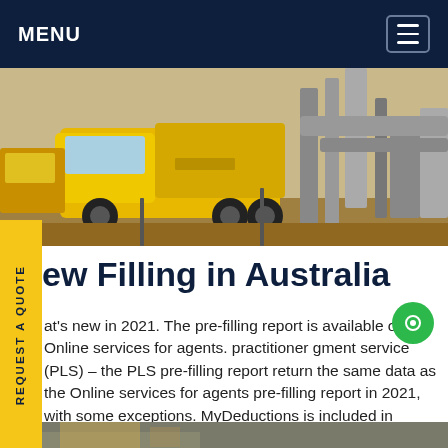MENU
[Figure (photo): Yellow Isuzu truck at an industrial construction site with large steel pipes and equipment in the background]
REQUEST A QUOTE
ew Filling in Australia
at's new in 2021. The pre-filling report is available ough: Online services for agents. practitioner gment service (PLS) – the PLS pre-filling report return the same data as the Online services for agents pre-filling report in 2021, with some exceptions. MyDeductions is included in PLS.Get price
[Figure (photo): Bottom strip showing another industrial or truck-related image, partially visible]